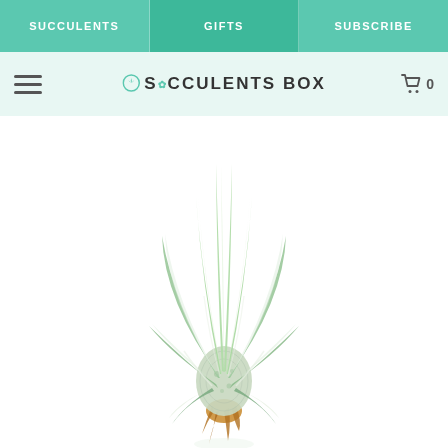SUCCULENTS | GIFTS | SUBSCRIBE
SUCCULENTS BOX
[Figure (photo): An air plant (Tillandsia) photographed against a white background. The plant has long, narrow silvery-green leaves radiating outward and upward from a central base, with brown dried roots visible at the bottom.]